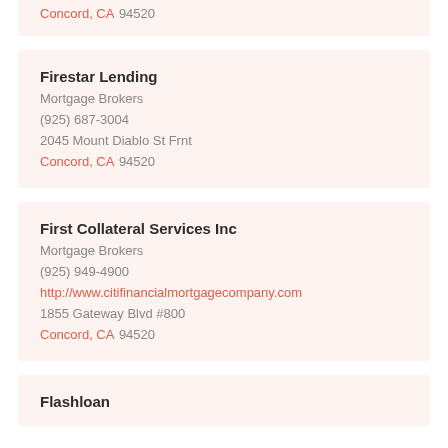Concord, CA 94520
Firestar Lending
Mortgage Brokers
(925) 687-3004
2045 Mount Diablo St Frnt
Concord, CA 94520
First Collateral Services Inc
Mortgage Brokers
(925) 949-4900
http://www.citifinancialmortgagecompany.com
1855 Gateway Blvd #800
Concord, CA 94520
Flashloan